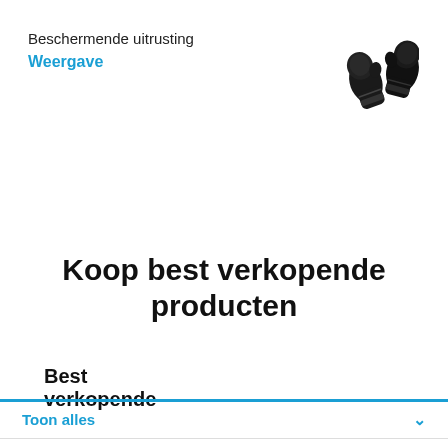Beschermende uitrusting
Weergave
[Figure (photo): Black boxing gloves product image]
Koop best verkopende producten
Best verkopende
Toon alles
Choose category